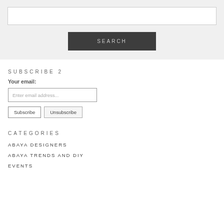[Figure (screenshot): Search input field (white box) followed by a dark SEARCH button centered on a light gray background]
SUBSCRIBE 2
Your email:
Enter email address...
Subscribe   Unsubscribe
CATEGORIES
ABAYA DESIGNERS
ABAYA TRENDS AND DIY
EVENTS